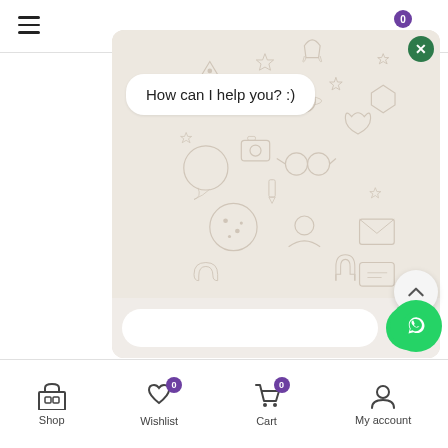[Figure (screenshot): Mobile e-commerce website screenshot showing a WhatsApp chat popup with 'How can I help you? :)' message, a decorative emoji/icon background pattern, a text input field, send button, scroll-up button, WhatsApp FAB, and a bottom navigation bar with Shop, Wishlist (0), Cart (0), and My account icons.]